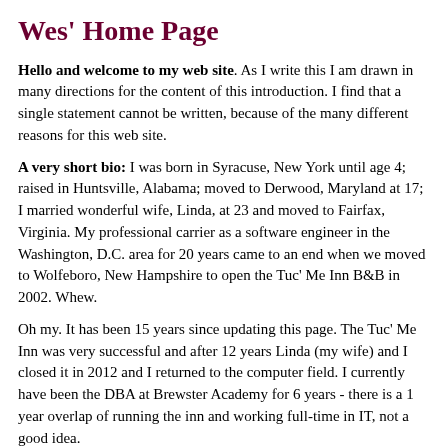Wes' Home Page
Hello and welcome to my web site.  As I write this I am drawn in many directions for the content of this introduction.  I find that a single statement cannot be written, because of the many different reasons for this web site.
A very short bio:  I was born in Syracuse, New York until age 4; raised in Huntsville, Alabama; moved to Derwood, Maryland at 17; I married wonderful wife, Linda, at 23 and moved to Fairfax, Virginia.  My professional carrier as a software engineer in the Washington, D.C. area for 20 years came to an end when we moved to Wolfeboro, New Hampshire to open the Tuc' Me Inn B&B in 2002.  Whew.
Oh my. It has been 15 years since updating this page. The Tuc' Me Inn was very successful and after 12 years Linda (my wife) and I closed it in 2012 and I returned to the computer field. I currently have been the DBA at Brewster Academy for 6 years - there is a 1 year overlap of running the inn and working full-time in IT, not a good idea.
I would like to update this sie with my current interests that include RC sailing, robotics (of course) and food (yum).